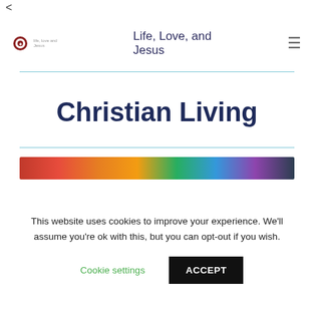<
[Figure (logo): Site navigation bar with circular logo icon, site title 'Life, Love, and Jesus', and hamburger menu icon]
Christian Living
[Figure (photo): Colorful banner image strip at top of content area]
This website uses cookies to improve your experience. We'll assume you're ok with this, but you can opt-out if you wish.
Cookie settings   ACCEPT